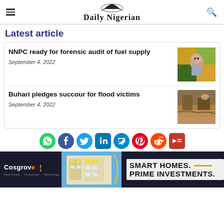Daily Nigerian
Latest article
NNPC ready for forensic audit of fuel supply
September 4, 2022
[Figure (photo): Man in glasses seated, colorful patterned background]
Buhari pledges succour for flood victims
September 4, 2022
[Figure (photo): Flood scene with muddy water and structures]
[Figure (infographic): Social media share icons: WhatsApp, Facebook, Twitter, LinkedIn, Telegram, Pinterest, Reddit, Email]
[Figure (photo): Cosgrove Real Estate advertisement: Smart Homes, Prime Investments with building photo]